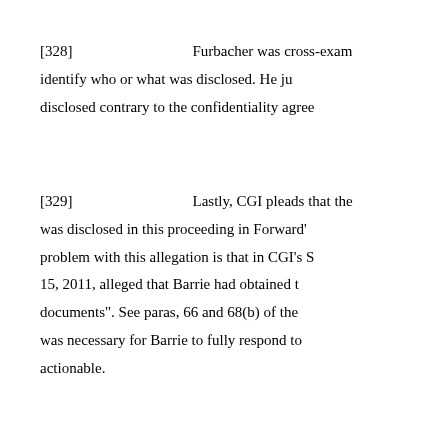[328]    Furbacher was cross-examined but could not identify who or what was disclosed. He just could not say what was disclosed contrary to the confidentiality agreement.
[329]    Lastly, CGI pleads that the information was disclosed in this proceeding in Forward's pleadings. The problem with this allegation is that in CGI's Statement of Claim filed March 15, 2011, alleged that Barrie had obtained the "CGI documents". See paras, 66 and 68(b) of the claim. It was necessary for Barrie to fully respond to what was actionable.